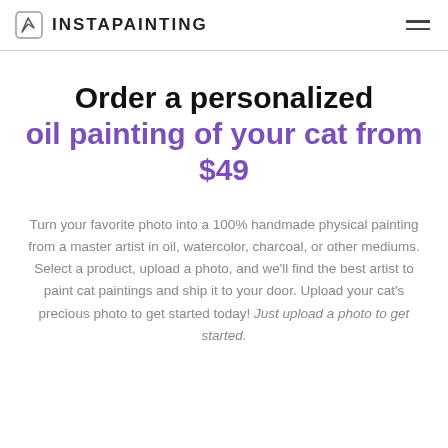INSTAPAINTING
Order a personalized oil painting of your cat from $49
Turn your favorite photo into a 100% handmade physical painting from a master artist in oil, watercolor, charcoal, or other mediums. Select a product, upload a photo, and we'll find the best artist to paint cat paintings and ship it to your door. Upload your cat's precious photo to get started today! Just upload a photo to get started.